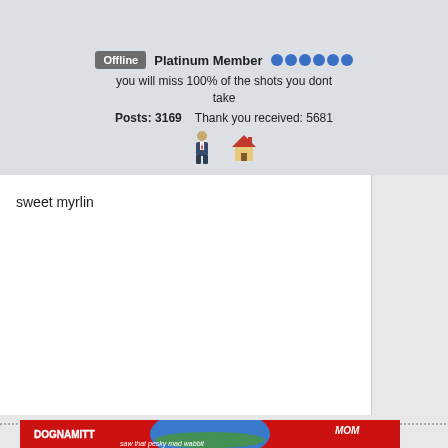Offline  Platinum Member  you will miss 100% of the shots you dont take  Posts: 3169   Thank you received: 5681
sweet myrlin
[Figure (illustration): Cartoon image with red background showing 'DOGNAMITT' and 'MOM' text, a green airplane and cartoon characters, with text 'saw that pesky mad wabbit']